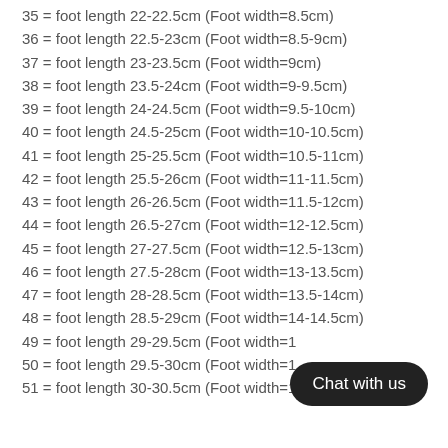35 = foot length 22-22.5cm (Foot width=8.5cm)
36 = foot length 22.5-23cm (Foot width=8.5-9cm)
37 = foot length 23-23.5cm (Foot width=9cm)
38 = foot length 23.5-24cm (Foot width=9-9.5cm)
39 = foot length 24-24.5cm (Foot width=9.5-10cm)
40 = foot length 24.5-25cm (Foot width=10-10.5cm)
41 = foot length 25-25.5cm (Foot width=10.5-11cm)
42 = foot length 25.5-26cm (Foot width=11-11.5cm)
43 = foot length 26-26.5cm (Foot width=11.5-12cm)
44 = foot length 26.5-27cm (Foot width=12-12.5cm)
45 = foot length 27-27.5cm (Foot width=12.5-13cm)
46 = foot length 27.5-28cm (Foot width=13-13.5cm)
47 = foot length 28-28.5cm (Foot width=13.5-14cm)
48 = foot length 28.5-29cm (Foot width=14-14.5cm)
49 = foot length 29-29.5cm (Foot width=14.5-15cm)
50 = foot length 29.5-30cm (Foot width=15-15.5cm)
51 = foot length 30-30.5cm (Foot width=15.5-16cm)